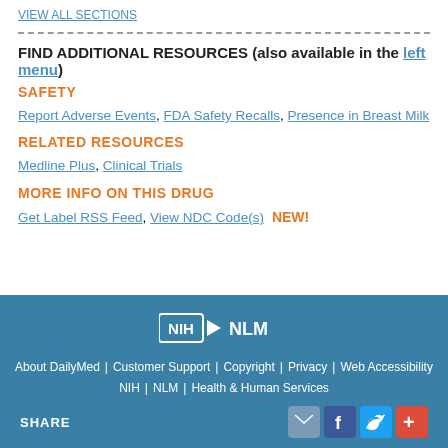VIEW ALL SECTIONS
FIND ADDITIONAL RESOURCES (also available in the left menu)
SAFETY
Report Adverse Events, FDA Safety Recalls, Presence in Breast Milk
RELATED RESOURCES
Medline Plus, Clinical Trials
MORE INFO ON THIS DRUG
Get Label RSS Feed, View NDC Code(s)  NEW!
NIH NLM | About DailyMed | Customer Support | Copyright | Privacy | Web Accessibility | NIH | NLM | Health & Human Services | SHARE